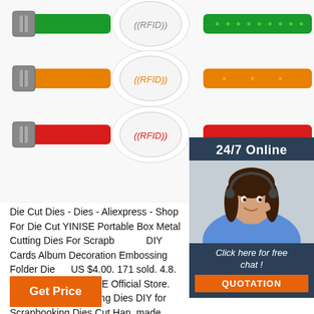[Figure (photo): Three RFID silicone wristbands in green, orange, and red colors with metal buckles on the left and white circular RFID chips in the center, displayed on a white background.]
[Figure (photo): 24/7 Online customer service sidebar showing a smiling female customer service agent wearing a headset, with dark navy background, 'Click here for free chat!' text in italic white, and an orange QUOTATION button.]
Die Cut Dies - Dies - Aliexpress - Shop For Die Cut YINISE Portable Box Metal Cutting Dies For Scrapbooking DIY Cards Album Decoration Embossing Folder Die US $4.00. 171 sold. 4.8. Free Shipping. YINISE Official Store. Star Dies Metal Cutting Dies DIY for Scrapbooking Dies Cut Handmade Stencil Craft Mold Mould Model Decor Template.
[Figure (logo): TOP button icon with orange dots arranged in a semicircle above the word TOP in orange text]
Get Price